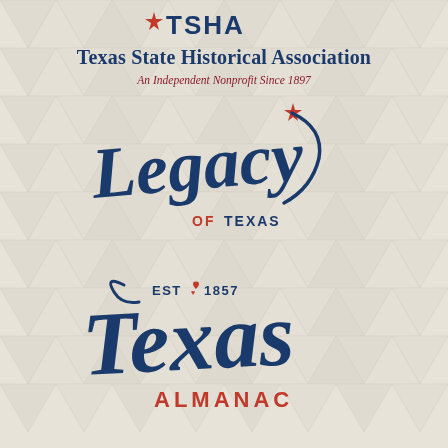[Figure (logo): TSHA logo mark — red star with 'TSHA' text]
Texas State Historical Association
An Independent Nonprofit Since 1897
[Figure (logo): Legacy of Texas logo — script cursive text with red star accent and swoosh]
[Figure (logo): Texas Almanac logo — EST 1857 with Texas heart icon, large script Texas text, and ALMANAC block letters]